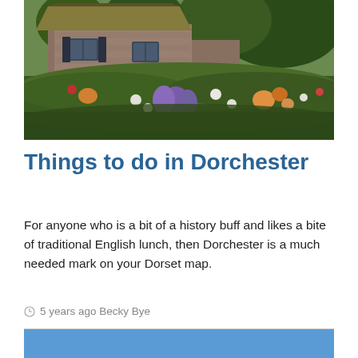[Figure (photo): Photograph of a thatched stone cottage with a colorful garden in full bloom in the foreground, featuring purple irises, orange lilies, white flowers, and lush green foliage. Trees are visible in the background.]
Things to do in Dorchester
For anyone who is a bit of a history buff and likes a bite of traditional English lunch, then Dorchester is a much needed mark on your Dorset map.
5 years ago Becky Bye